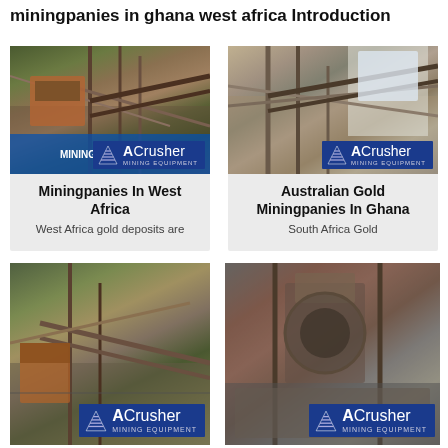miningpanies in ghana west africa Introduction
[Figure (photo): Mining equipment/conveyor structure with ACrusher Mining Equipment logo overlay]
Miningpanies In West Africa
West Africa gold deposits are
[Figure (photo): Mining processing plant with steel framework and ACrusher Mining Equipment logo overlay]
Australian Gold Miningpanies In Ghana
South Africa Gold
[Figure (photo): Open-air mining conveyor system in mountainous area with ACrusher Mining Equipment logo overlay]
[Figure (photo): Mining cone crusher machinery with ACrusher Mining Equipment logo overlay]